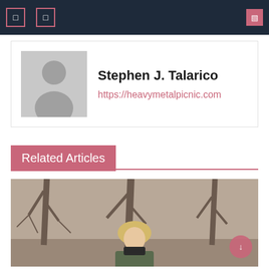Navigation bar with menu icons and search
Stephen J. Talarico
https://heavymetalpicnic.com
Related Articles
[Figure (photo): Outdoor photo of a blonde woman sitting among bare winter trees, wearing a dark jacket over black turtleneck]